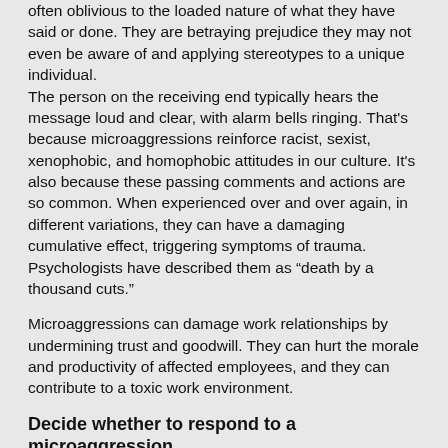often oblivious to the loaded nature of what they have said or done. They are betraying prejudice they may not even be aware of and applying stereotypes to a unique individual. The person on the receiving end typically hears the message loud and clear, with alarm bells ringing. That's because microaggressions reinforce racist, sexist, xenophobic, and homophobic attitudes in our culture. It's also because these passing comments and actions are so common. When experienced over and over again, in different variations, they can have a damaging cumulative effect, triggering symptoms of trauma. Psychologists have described them as “death by a thousand cuts.”
Microaggressions can damage work relationships by undermining trust and goodwill. They can hurt the morale and productivity of affected employees, and they can contribute to a toxic work environment.
Decide whether to respond to a microaggression.
Because they happen so often, it’s not practical to respond to every microaggression. You need to pick your battles. They also happen quickly, and it can take fast thinking to come up with an